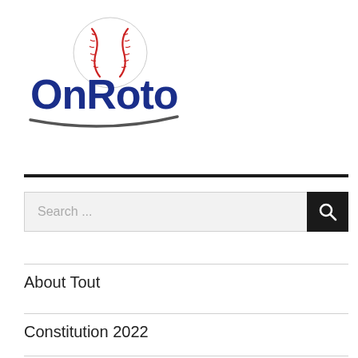[Figure (logo): OnRoto logo with a baseball above the text, and a curved swoosh underline. 'OnRoto' in bold dark blue letters.]
Search ...
About Tout
Constitution 2022